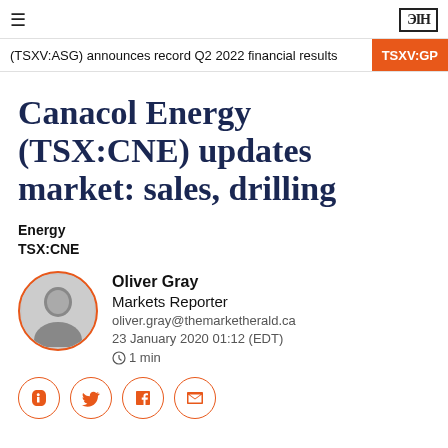≡  ЭIH
(TSXV:ASG) announces record Q2 2022 financial results  TSXV:GP
Canacol Energy (TSX:CNE) updates market: sales, drilling
Energy
TSX:CNE
Oliver Gray
Markets Reporter
oliver.gray@themarketherald.ca
23 January 2020 01:12 (EDT)
⏱1 min